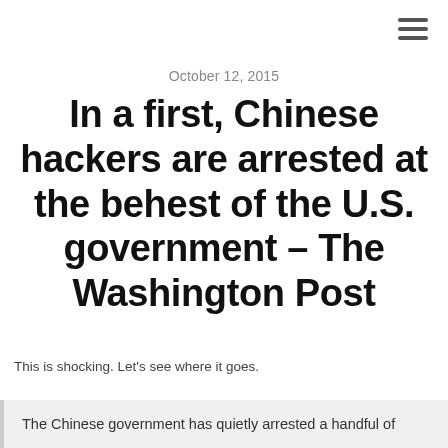≡ (hamburger menu icon)
October 12, 2015
In a first, Chinese hackers are arrested at the behest of the U.S. government – The Washington Post
This is shocking. Let's see where it goes.
The Chinese government has quietly arrested a handful of